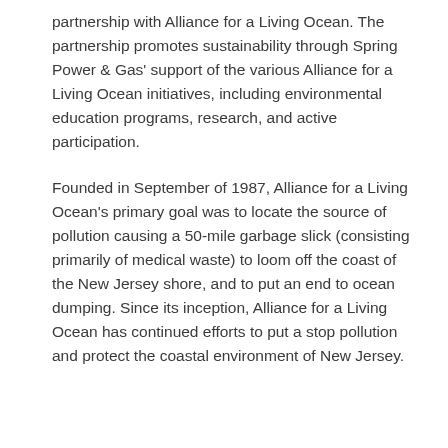partnership with Alliance for a Living Ocean. The partnership promotes sustainability through Spring Power & Gas' support of the various Alliance for a Living Ocean initiatives, including environmental education programs, research, and active participation.
Founded in September of 1987, Alliance for a Living Ocean's primary goal was to locate the source of pollution causing a 50-mile garbage slick (consisting primarily of medical waste) to loom off the coast of the New Jersey shore, and to put an end to ocean dumping. Since its inception, Alliance for a Living Ocean has continued efforts to put a stop pollution and protect the coastal environment of New Jersey.